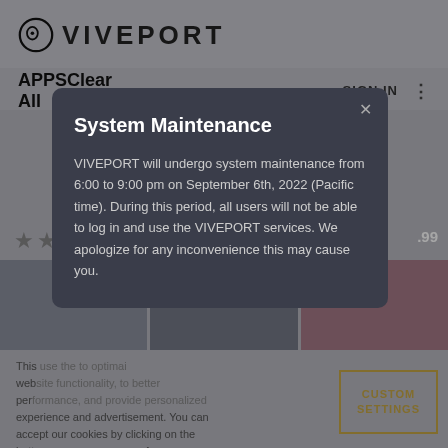VIVEPORT
APPSClear All
SIGN IN
[Figure (screenshot): Star rating row with approximately 3.5 stars and price '.99' on the right]
This [obscured text] website [obscured] functionality, to better performance, and provide personalized experience and advertisement. You can accept our cookies by clicking on the button or manage your preference on "Cookie Preferences".
CUSTOM SETTINGS
System Maintenance
VIVEPORT will undergo system maintenance from 6:00 to 9:00 pm on September 6th, 2022 (Pacific time). During this period, all users will not be able to log in and use the VIVEPORT services. We apologize for any inconvenience this may cause you.